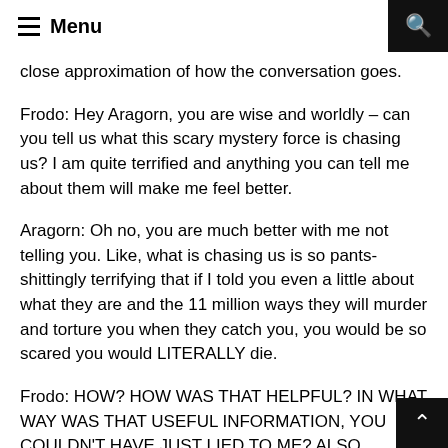Menu
close approximation of how the conversation goes.
Frodo: Hey Aragorn, you are wise and worldly – can you tell us what this scary mystery force is chasing us? I am quite terrified and anything you can tell me about them will make me feel better.
Aragorn: Oh no, you are much better with me not telling you. Like, what is chasing us is so pants-shittingly terrifying that if I told you even a little about what they are and the 11 million ways they will murder and torture you when they catch you, you would be so scared you would LITERALLY die.
Frodo: HOW? HOW WAS THAT HELPFUL? IN WHAT WAY WAS THAT USEFUL INFORMATION, YOU COULDN'T HAVE JUST LIED TO ME? ALSO WHATEVER THEY ARE CANNOT BE